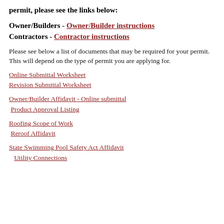permit, please see the links below:
Owner/Builders - Owner/Builder instructions
Contractors - Contractor instructions
Please see below a list of documents that may be required for your permit.  This will depend on the type of permit you are applying for.
Online Submittal Worksheet
Revision Submittal Worksheet
Owner/Builder Affidavit - Online submittal
Product Approval Listing
Roofing Scope of Work
Reroof Affidavit
State Swimming Pool Safety Act Affidavit
Utility Connections